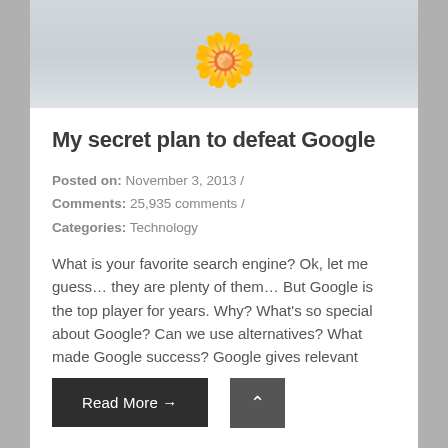[Figure (photo): Top portion of a blog page showing a decorative flower photo (white flower with yellow center) cropped at the top]
My secret plan to defeat Google
Posted on: November 3, 2013 /
Comments: 25,935 comments /
Categories: Technology
What is your favorite search engine? Ok, let me guess… they are plenty of them… But Google is the top player for years. Why? What's so special about Google? Can we use alternatives? What made Google success? Google gives relevant results: what you are looking for is on its top 5 links It's free! It
Read More →